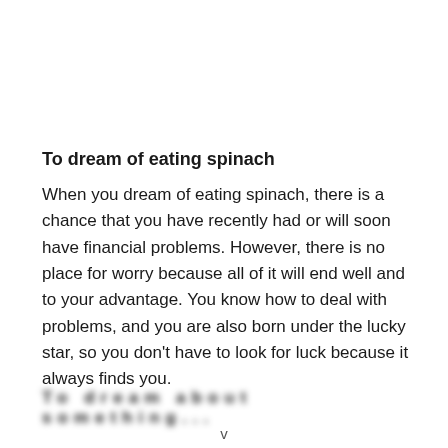To dream of eating spinach
When you dream of eating spinach, there is a chance that you have recently had or will soon have financial problems. However, there is no place for worry because all of it will end well and to your advantage. You know how to deal with problems, and you are also born under the lucky star, so you don’t have to look for luck because it always finds you.
To dream about something...
v